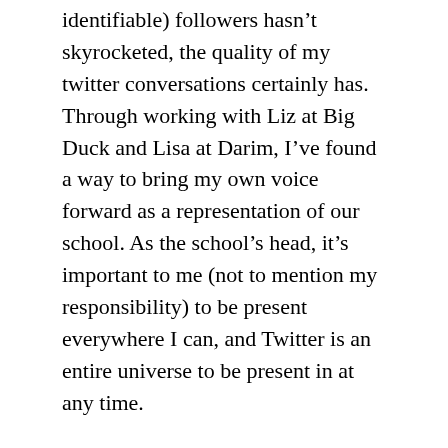identifiable) followers hasn't skyrocketed, the quality of my twitter conversations certainly has. Through working with Liz at Big Duck and Lisa at Darim, I've found a way to bring my own voice forward as a representation of our school. As the school's head, it's important to me (not to mention my responsibility) to be present everywhere I can, and Twitter is an entire universe to be present in at any time.
3. Setting Fundraising Goals: Clear, Urgent, and Achievable
Our culminating project through the Academy was our CrowdRise fundraiser, a social/viral one never seen before in our community. Based on